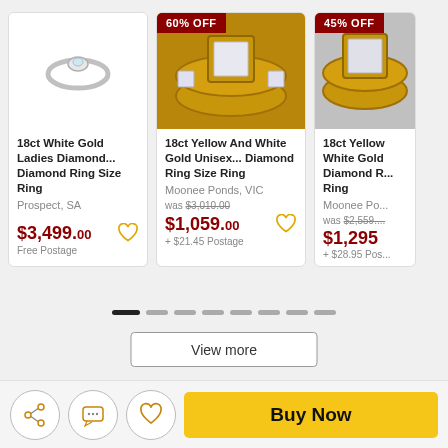[Figure (photo): Product card 1: 18ct White Gold Ladies Diamond Ring - silver diamond solitaire ring on white background]
18ct White Gold Ladies Diamond... Diamond Ring Size Ring
Prospect, SA
$3,499.00
Free Postage
[Figure (photo): 60% OFF badge. Product card 2: 18ct Yellow And White Gold Unisex Diamond Ring - gold ring with princess cut diamond center stone]
18ct Yellow And White Gold Unisex... Diamond Ring Size Ring
Moonee Ponds, VIC
was $3,010.00
$1,059.00
+ $21.45 Postage
[Figure (photo): 45% OFF badge. Product card 3: 18ct Yellow White Gold Diamond Ring - partially visible gold ring with diamonds]
18ct Yellow White Gold Diamond R...
Ring
Moonee Po...
was $2,559...
$1,295
+ $28.95 Pos
View more
Buy Now